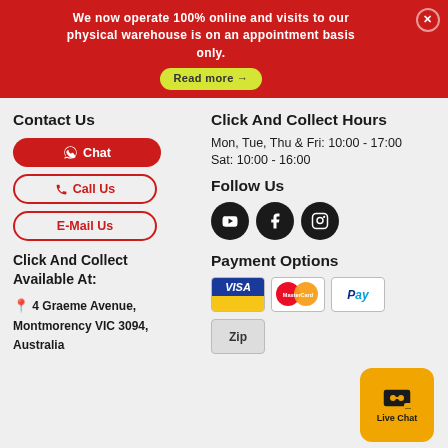We now operate 100% online and visits to our physical warehouse is on an appointment basis only.
Read more →
Contact Us
Chat
Call Us
E-Mail Us
Click And Collect Available At:
4 Graeme Avenue, Montmorency VIC 3094, Australia
Click And Collect Hours
Mon, Tue, Thu & Fri: 10:00 - 17:00
Sat: 10:00 - 16:00
Follow Us
[Figure (illustration): Social media icons: YouTube, Facebook, Instagram]
Payment Options
[Figure (illustration): Payment icons: Visa, MasterCard, PayPal, Zip]
Live Chat